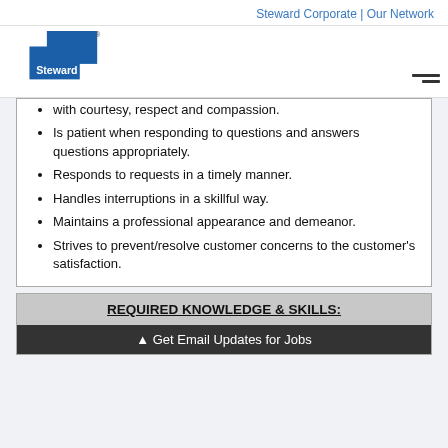Steward Corporate | Our Network
[Figure (logo): Steward Health Care logo — blue square shapes with 'Steward' text below]
with courtesy, respect and compassion.
Is patient when responding to questions and answers questions appropriately.
Responds to requests in a timely manner.
Handles interruptions in a skillful way.
Maintains a professional appearance and demeanor.
Strives to prevent/resolve customer concerns to the customer's satisfaction.
REQUIRED KNOWLEDGE & SKILLS:
▲ Get Email Updates for Jobs